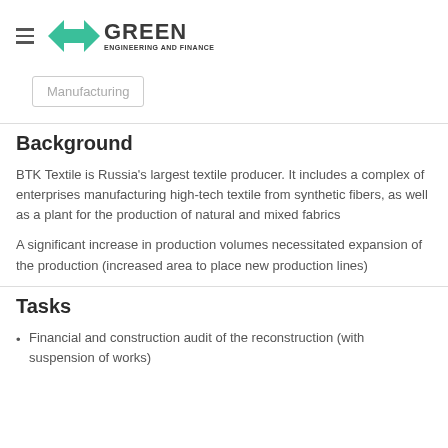X GREEN ENGINEERING AND FINANCE
Manufacturing
Background
BTK Textile is Russia's largest textile producer. It includes a complex of enterprises manufacturing high-tech textile from synthetic fibers, as well as a plant for the production of natural and mixed fabrics
A significant increase in production volumes necessitated expansion of the production (increased area to place new production lines)
Tasks
Financial and construction audit of the reconstruction (with suspension of works)